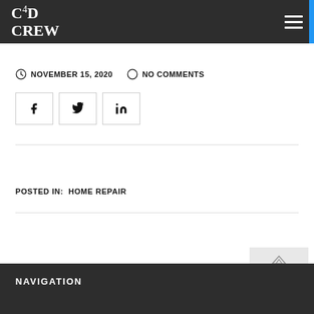C4D CREW
NOVEMBER 15, 2020   NO COMMENTS
[Figure (other): Social share buttons: Facebook, Twitter, LinkedIn]
POSTED IN:  HOME REPAIR
NAVIGATION